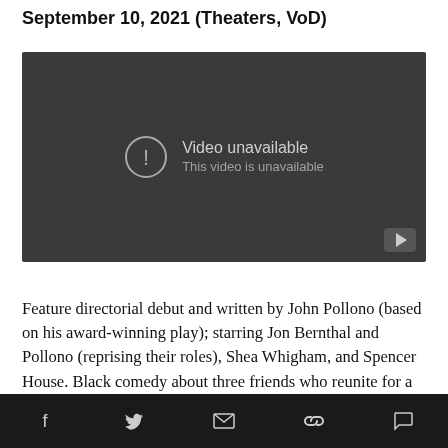September 10, 2021 (Theaters, VoD)
[Figure (screenshot): Embedded video player showing 'Video unavailable / This video is unavailable' message on a dark grey background, with a YouTube play button icon in the bottom-right corner.]
Feature directorial debut and written by John Pollono (based on his award-winning play); starring Jon Bernthal and Pollono (reprising their roles), Shea Whigham, and Spencer House. Black comedy about three friends who reunite for a mysterious — presumably criminal — task. Coincidentally, Bernthal is
Social share icons: Facebook, Twitter, Email, Link, Comment